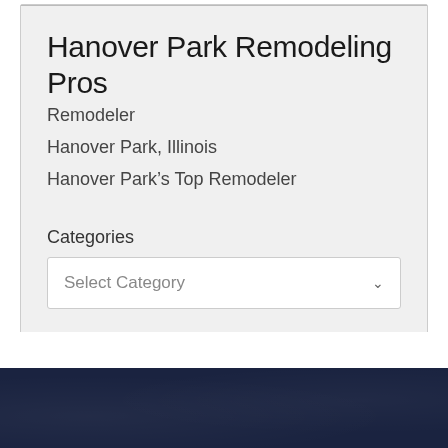Hanover Park Remodeling Pros
Remodeler
Hanover Park, Illinois
Hanover Park's Top Remodeler
Categories
Select Category
[Figure (screenshot): Dark navy textured footer background at the bottom of the page]